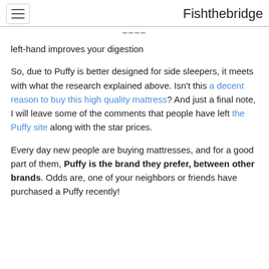Fishthebridge
left-hand improves your digestion
So, due to Puffy is better designed for side sleepers, it meets with what the research explained above. Isn't this a decent reason to buy this high quality mattress? And just a final note, I will leave some of the comments that people have left the Puffy site along with the star prices.
Every day new people are buying mattresses, and for a good part of them, Puffy is the brand they prefer, between other brands. Odds are, one of your neighbors or friends have purchased a Puffy recently!